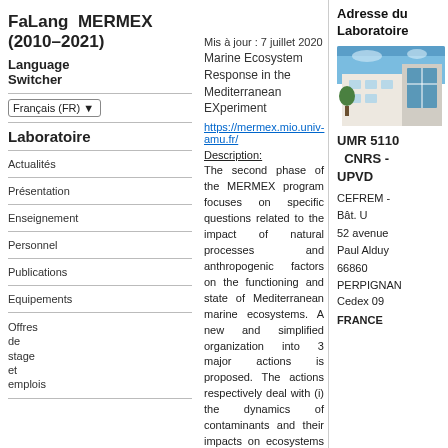FaLang MERMEX (2010–2021)
Language Switcher
Mis à jour : 7 juillet 2020
Marine Ecosystem Response in the Mediterranean EXperiment
Français (FR)
Laboratoire
Actualités
Présentation
Enseignement
Personnel
Publications
Equipements
Offres de stage et emplois
https://mermex.mio.univ-amu.fr/
Description:
The second phase of the MERMEX program focuses on specific questions related to the impact of natural processes and anthropogenic factors on the functioning and state of Mediterranean marine ecosystems. A new and simplified organization into 3 major actions is proposed. The actions respectively deal with (i) the dynamics of contaminants and their impacts on ecosystems in the coastal zone (MERITE), (ii) the impact of dust deposition on the surface marine
Adresse du Laboratoire
[Figure (photo): Photograph of laboratory building exterior]
UMR 5110 CNRS - UPVD
CEFREM - Bât. U
52 avenue Paul Alduy
66860 PERPIGNAN Cedex 09
FRANCE